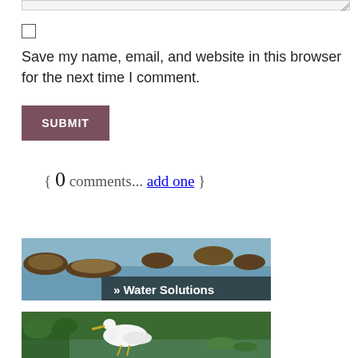Save my name, email, and website in this browser for the next time I comment.
SUBMIT
{ 0 comments... add one }
[Figure (photo): Wetland aerial view with water and vegetation, banner overlay reading '>> Water Solutions']
[Figure (photo): Egret bird in wetland/marsh with green vegetation]